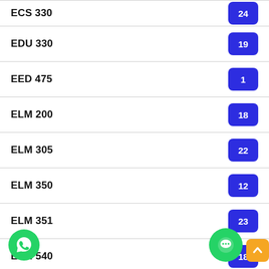ECS 330 — 24
EDU 330 — 19
EED 475 — 1
ELM 200 — 18
ELM 305 — 22
ELM 350 — 12
ELM 351 — 23
ELM 540 — 18
EMM 415 — 5
EMM 442
ELM 641 — 11